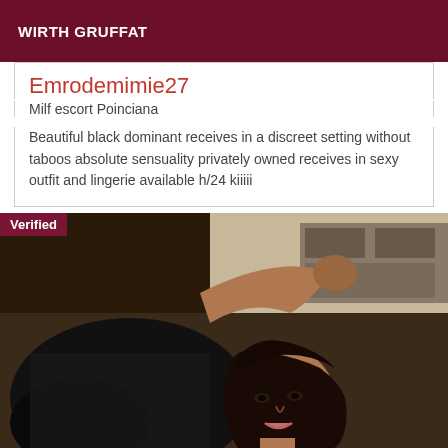WIRTH GRUFFAT
Emrodemimie27
Milf escort Poinciana
Beautiful black dominant receives in a discreet setting without taboos absolute sensuality privately owned receives in sexy outfit and lingerie available h/24 kiiiii
[Figure (photo): A person wearing black mesh outfit, lying down with dark hair, photographed from above in an indoor setting. A 'Verified' badge appears in the top-left corner of the image.]